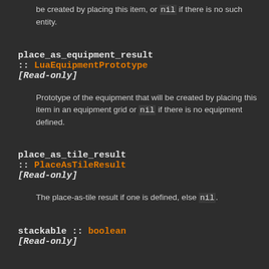be created by placing this item, or nil if there is no such entity.
place_as_equipment_result :: LuaEquipmentPrototype [Read-only]
Prototype of the equipment that will be created by placing this item in an equipment grid or nil if there is no equipment defined.
place_as_tile_result :: PlaceAsTileResult [Read-only]
The place-as-tile result if one is defined, else nil.
stackable :: boolean [Read-only]